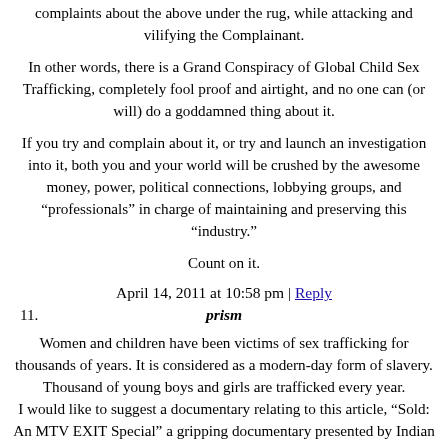All ACS ever does is sweep legitimate allegations and complaints about the above under the rug, while attacking and vilifying the Complainant.
In other words, there is a Grand Conspiracy of Global Child Sex Trafficking, completely fool proof and airtight, and no one can (or will) do a goddamned thing about it.
If you try and complain about it, or try and launch an investigation into it, both you and your world will be crushed by the awesome money, power, political connections, lobbying groups, and "professionals" in charge of maintaining and preserving this "industry."
Count on it.
April 14, 2011 at 10:58 pm | Reply
11. prism
Women and children have been victims of sex trafficking for thousands of years. It is considered as a modern-day form of slavery. Thousand of young boys and girls are trafficked every year.
I would like to suggest a documentary relating to this article, "Sold: An MTV EXIT Special" a gripping documentary presented by Indian actress and UNFPA Ambassador, Lara